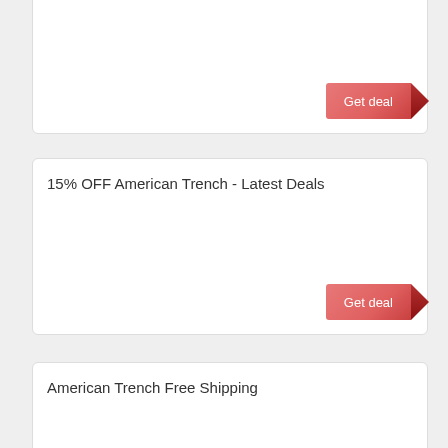Get deal
15% OFF American Trench - Latest Deals
Get deal
American Trench Free Shipping
Get deal
Expired American Trench Coupon Codes